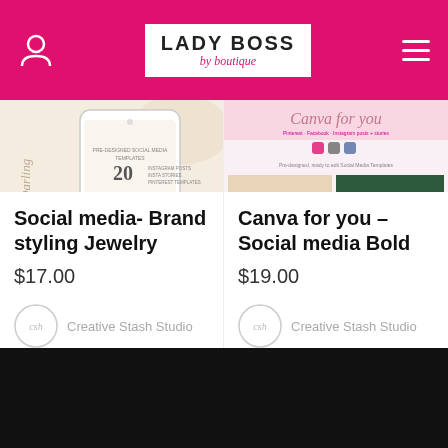Lady Boss byboutique — navigation header
[Figure (screenshot): Product image for Social media- Brand styling Jewelry: phone mockup with social media templates on beige/gold background]
Social media- Brand styling Jewelry
$17.00
Creative Stash Studio
[Figure (screenshot): Product image for Canva for you - Social media Bold: colorful collage of social media template previews with tropical plants and pink tones]
Canva for you – Social media Bold
$19.00
Creative Stash Studio